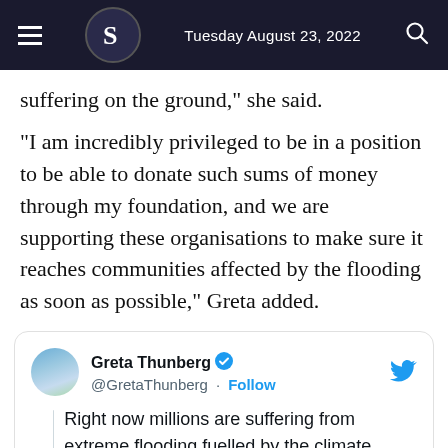Tuesday August 23, 2022
suffering on the ground," she said.
"I am incredibly privileged to be in a position to be able to donate such sums of money through my foundation, and we are supporting these organisations to make sure it reaches communities affected by the flooding as soon as possible," Greta added.
Greta Thunberg @GretaThunberg · Follow
Right now millions are suffering from extreme flooding fuelled by the climate crisis in India and Bangladesh - already